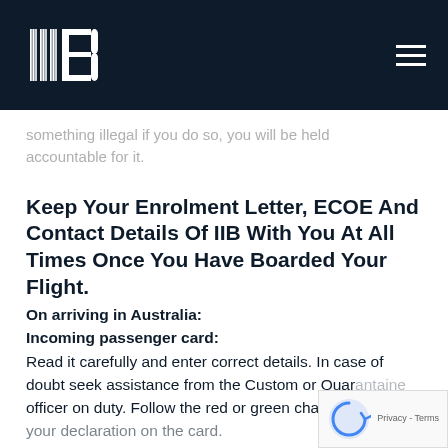IIB logo and navigation
something illegal if you do so, you will be held accountable for it.
Keep Your Enrolment Letter, ECOE And Contact Details Of IIB With You At All Times Once You Have Boarded Your Flight.
On arriving in Australia: Incoming passenger card: Read it carefully and enter correct details. In case of doubt seek assistance from the Custom or Quarantine officer on duty. Follow the red or green channel as per your declaration on the card.